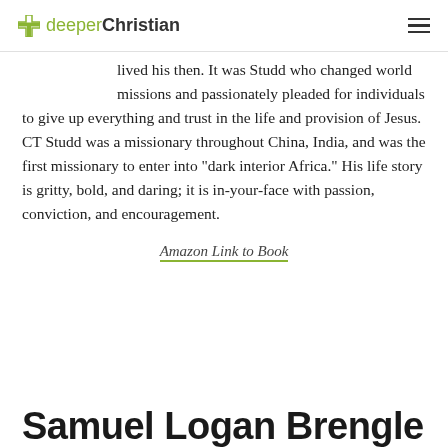deeper Christian
lived his then. It was Studd who changed world missions and passionately pleaded for individuals to give up everything and trust in the life and provision of Jesus. CT Studd was a missionary throughout China, India, and was the first missionary to enter into “dark interior Africa.” His life story is gritty, bold, and daring; it is in-your-face with passion, conviction, and encouragement.
Amazon Link to Book
Samuel Logan Brengle.